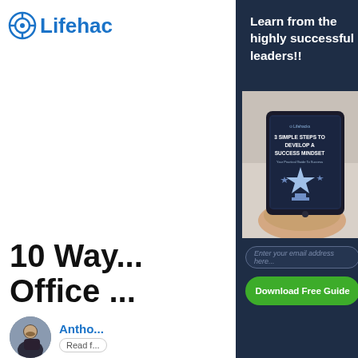[Figure (logo): Lifehack logo with circular target icon and text 'Lifehack' partially visible]
10 Way... Office ...
[Figure (photo): Author avatar photo - man with beard in dark jacket]
Antho...
Read f...
Learn from the highly successful leaders!!
[Figure (photo): Hand holding a tablet displaying a book cover titled '3 SIMPLE STEPS TO DEVELOP A SUCCESS MINDSET - Your Practical Guide To Success' with a trophy illustration]
Enter your email address here...
Download Free Guide